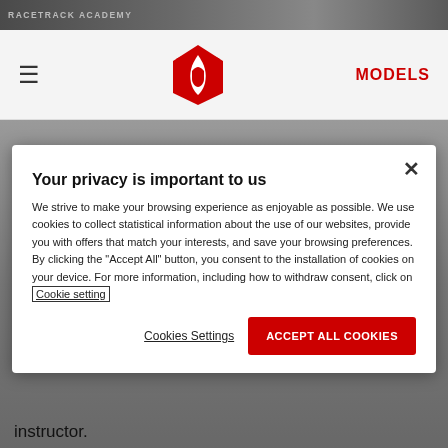[Figure (screenshot): Top image strip showing partial text: RACETRACK ACADEMY with colorful background]
≡  [Ducati Logo]  MODELS
[Figure (screenshot): Ducati website background with gray/asphalt texture]
Your privacy is important to us
We strive to make your browsing experience as enjoyable as possible. We use cookies to collect statistical information about the use of our websites, provide you with offers that match your interests, and save your browsing preferences. By clicking the "Accept All" button, you consent to the installation of cookies on your device. For more information, including how to withdraw consent, click on Cookie setting
Cookies Settings    ACCEPT ALL COOKIES
instructor.